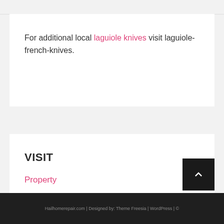For additional local laguiole knives visit laguiole-french-knives.
VISIT
Property
Hailhomerepair.com | Designed by: Theme Freesia | WordPress | ©